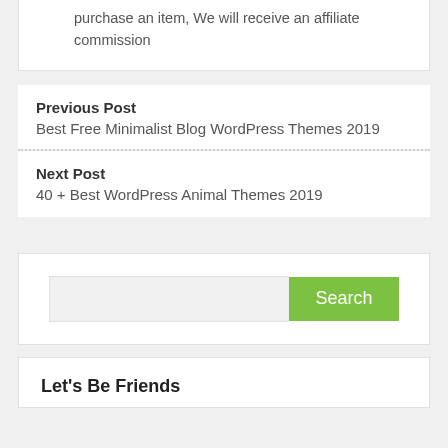purchase an item, We will receive an affiliate commission
Previous Post
Best Free Minimalist Blog WordPress Themes 2019
Next Post
40 + Best WordPress Animal Themes 2019
Search
Let's Be Friends